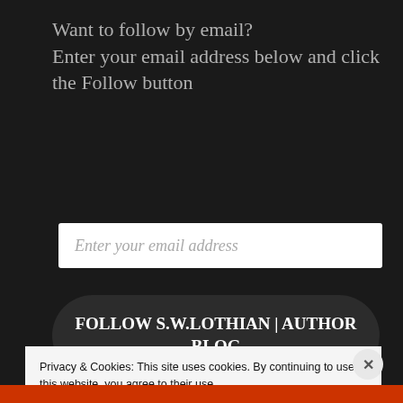Want to follow by email?
Enter your email address below and click the Follow button
Enter your email address
FOLLOW S.W.LOTHIAN | AUTHOR BLOG
Join 3,605 other followers
Privacy & Cookies: This site uses cookies. By continuing to use this website, you agree to their use.
To find out more, including how to control cookies, see here: Cookie Policy
Close and accept